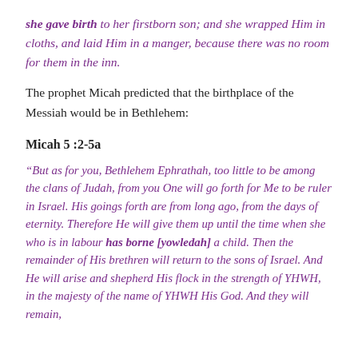she gave birth to her firstborn son; and she wrapped Him in cloths, and laid Him in a manger, because there was no room for them in the inn.
The prophet Micah predicted that the birthplace of the Messiah would be in Bethlehem:
Micah 5 :2-5a
“But as for you, Bethlehem Ephrathah, too little to be among the clans of Judah, from you One will go forth for Me to be ruler in Israel. His goings forth are from long ago, from the days of eternity. Therefore He will give them up until the time when she who is in labour has borne [yowledah] a child. Then the remainder of His brethren will return to the sons of Israel. And He will arise and shepherd His flock in the strength of YHWH, in the majesty of the name of YHWH His God. And they will remain,